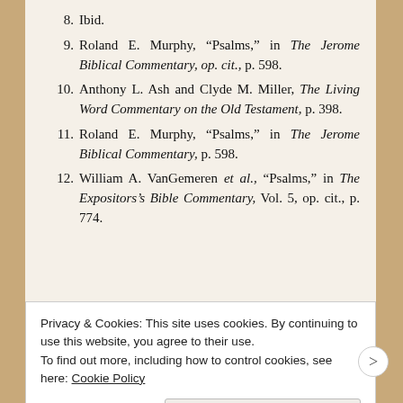8. Ibid.
9. Roland E. Murphy, “Psalms,” in The Jerome Biblical Commentary, op. cit., p. 598.
10. Anthony L. Ash and Clyde M. Miller, The Living Word Commentary on the Old Testament, p. 398.
11. Roland E. Murphy, “Psalms,” in The Jerome Biblical Commentary, p. 598.
12. William A. VanGemeren et al., “Psalms,” in The Expositors’s Bible Commentary, Vol. 5, op. cit., p. 774.
Privacy & Cookies: This site uses cookies. By continuing to use this website, you agree to their use. To find out more, including how to control cookies, see here: Cookie Policy
Close and accept